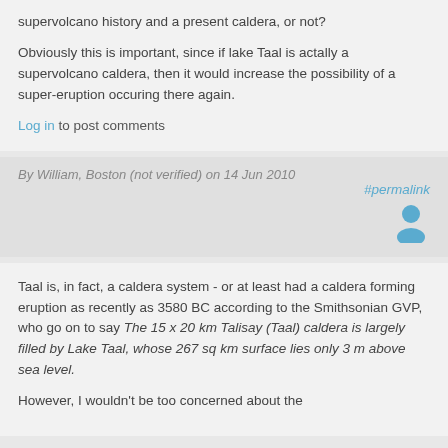supervolcano history and a present caldera, or not?
Obviously this is important, since if lake Taal is actally a supervolcano caldera, then it would increase the possibility of a super-eruption occuring there again.
Log in to post comments
By William, Boston (not verified) on 14 Jun 2010
#permalink
[Figure (illustration): User avatar icon - blue person silhouette]
Taal is, in fact, a caldera system - or at least had a caldera forming eruption as recently as 3580 BC according to the Smithsonian GVP, who go on to say The 15 x 20 km Talisay (Taal) caldera is largely filled by Lake Taal, whose 267 sq km surface lies only 3 m above sea level.
However, I wouldn't be too concerned about the